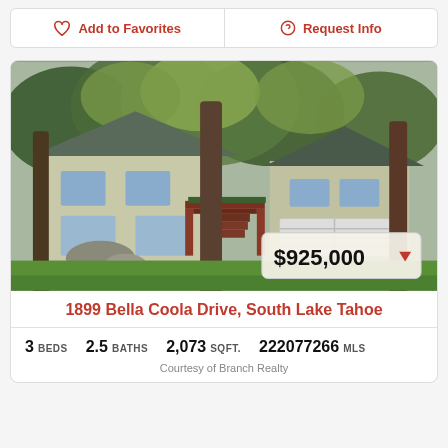Add to Favorites
Request Info
[Figure (photo): Two-story house with light green/beige siding surrounded by tall pine and deciduous trees, red wooden deck, attached garage, green lawn in foreground. Price badge showing $925,000 with red down arrow.]
1899 Bella Coola Drive, South Lake Tahoe
3 BEDS   2.5 BATHS   2,073 SQFT.   222077266 MLS
Courtesy of Branch Realty